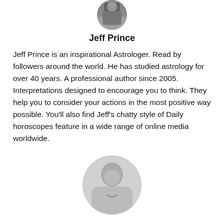[Figure (photo): Circular cropped black and white photo of Jeff Prince, partially visible at top of page]
Jeff Prince
Jeff Prince is an inspirational Astrologer. Read by followers around the world. He has studied astrology for over 40 years. A professional author since 2005. Interpretations designed to encourage you to think. They help you to consider your actions in the most positive way possible. You'll also find Jeff's chatty style of Daily horoscopes feature in a wide range of online media worldwide.
[Figure (photo): Circular cropped black and white photo of a woman with short hair, smiling, partially visible at bottom of page]